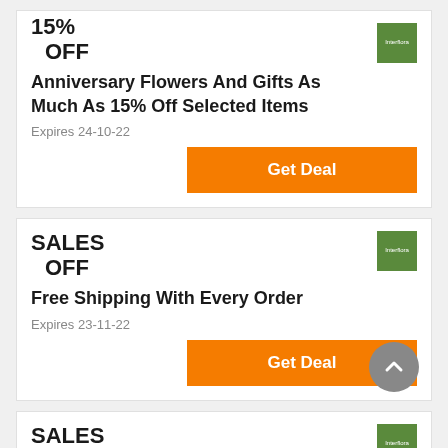15% OFF
Anniversary Flowers And Gifts As Much As 15% Off Selected Items
Expires 24-10-22
Get Deal
SALES OFF
Free Shipping With Every Order
Expires 23-11-22
Get Deal
SALES OFF
Shop Just Because Flowers & Gifts